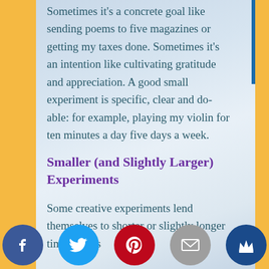Sometimes it's a concrete goal like sending poems to five magazines or getting my taxes done. Sometimes it's an intention like cultivating gratitude and appreciation. A good small experiment is specific, clear and do-able: for example, playing my violin for ten minutes a day five days a week.
Smaller (and Slightly Larger) Experiments
Some creative experiments lend themselves to shorter or slightly longer time frames